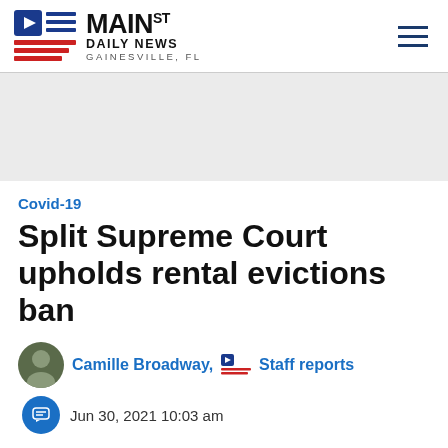MAIN ST DAILY NEWS GAINESVILLE, FL
[Figure (other): Gray advertisement/banner placeholder area]
Covid-19
Split Supreme Court upholds rental evictions ban
Camille Broadway, Staff reports
Jun 30, 2021 10:03 am